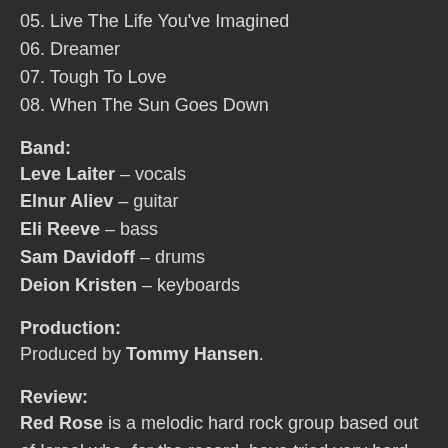05. Live The Life You've Imagined
06. Dreamer
07. Tough To Love
08. When The Sun Goes Down
Band:
Leve Laiter – vocals
Elnur Aliev – guitar
Eli Reeve – bass
Sam Davidoff – drums
Deion Kristen – keyboards
Production:
Produced by Tommy Hansen.
Review:
Red Rose is a melodic hard rock group based out of Israel who, for the record, have tried very hard